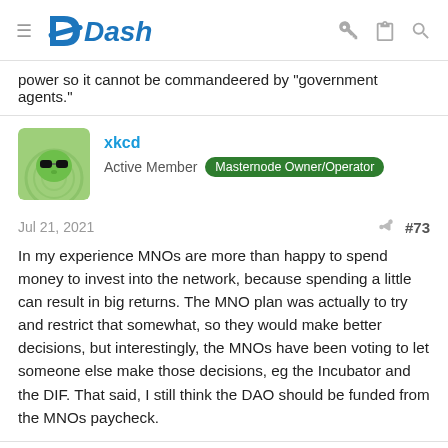Dash
power so it cannot be commandeered by "government agents."
xkcd
Active Member  Masternode Owner/Operator
Jul 21, 2021  #73
In my experience MNOs are more than happy to spend money to invest into the network, because spending a little can result in big returns. The MNO plan was actually to try and restrict that somewhat, so they would make better decisions, but interestingly, the MNOs have been voting to let someone else make those decisions, eg the Incubator and the DIF. That said, I still think the DAO should be funded from the MNOs paycheck.
vazaki3